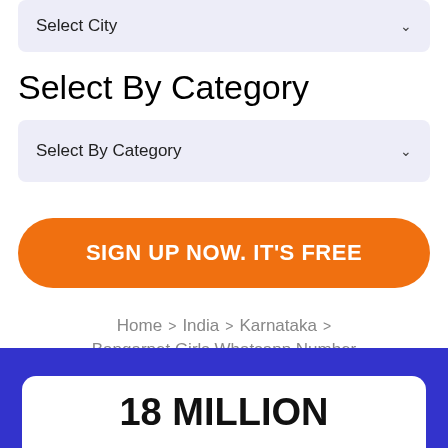Select City
Select By Category
Select By Category
SIGN UP NOW. IT'S FREE
Home > India > Karnataka > Bangarpet Girls Whatsapp Number
18 MILLION